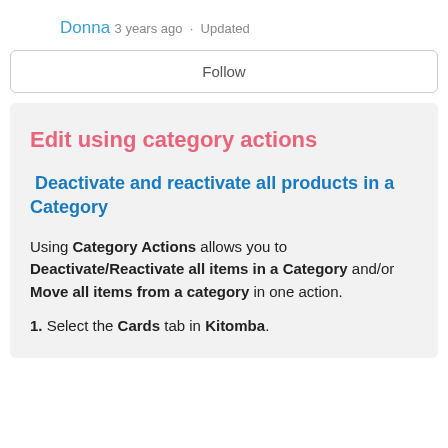Donna
3 years ago · Updated
Follow
Edit using category actions
Deactivate and reactivate all products in a Category
Using Category Actions allows you to Deactivate/Reactivate all items in a Category and/or Move all items from a category in one action.
1. Select the Cards tab in Kitomba.